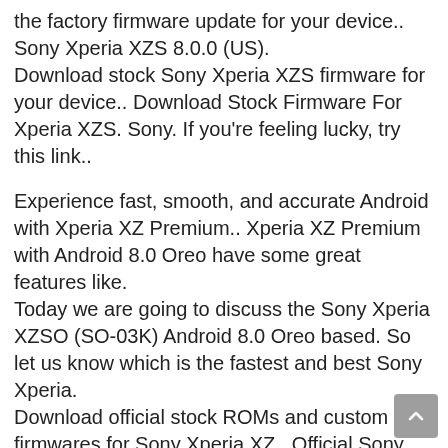the factory firmware update for your device.. Sony Xperia XZS 8.0.0 (US).
Download stock Sony Xperia XZS firmware for your device.. Download Stock Firmware For Xperia XZS. Sony. If you're feeling lucky, try this link..
Experience fast, smooth, and accurate Android with Xperia XZ Premium.. Xperia XZ Premium with Android 8.0 Oreo have some great features like.
Today we are going to discuss the Sony Xperia XZSO (SO-03K) Android 8.0 Oreo based. So let us know which is the fastest and best Sony Xperia.
Download official stock ROMs and custom firmwares for Sony Xperia XZ.. Official Sony Xperia XZ SO-03K Sony Xperia XZ SO-03K (Japan). Sony ã†ãƒâ€¢.
Flashtool is a tool built into the Android SDK that allows y...